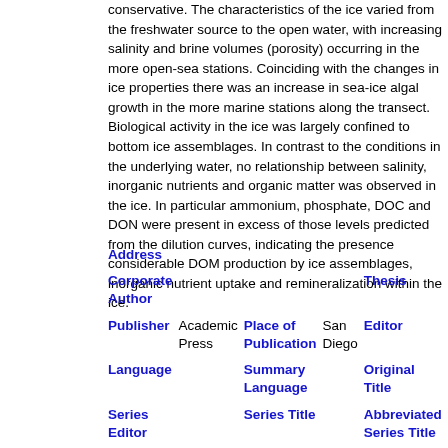conservative. The characteristics of the ice varied from the freshwater source to the open water, with increasing salinity and brine volumes (porosity) occurring in the more open-sea stations. Coinciding with the changes in ice properties there was an increase in sea-ice algal growth in the more marine stations along the transect. Biological activity in the ice was largely confined to bottom ice assemblages. In contrast to the conditions in the underlying water, no relationship between salinity, inorganic nutrients and organic matter was observed in the ice. In particular ammonium, phosphate, DOC and DON were present in excess of those levels predicted from the dilution curves, indicating the presence considerable DOM production by ice assemblages, inorganic nutrient uptake and remineralization within the ice.
| Field | Value | Field | Value | Field | Value |
| --- | --- | --- | --- | --- | --- |
| Address |  |  |  |  |  |
| Corporate Author |  |  |  | Thesis |  |
| Publisher | Academic Press | Place of Publication | San Diego | Editor |  |
| Language |  | Summary Language |  | Original Title |  |
| Series Editor |  | Series Title |  | Abbreviated Series Title |  |
| Series Volume |  | Series Issue |  | Edition |  |
| ISSN | 0272- | ISBN |  | Medium |  |